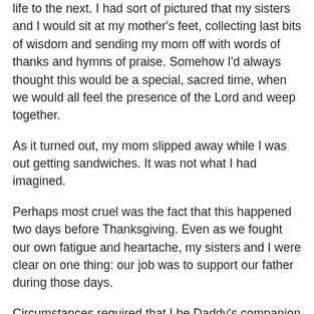life to the next. I had sort of pictured that my sisters and I would sit at my mother's feet, collecting last bits of wisdom and sending my mom off with words of thanks and hymns of praise. Somehow I'd always thought this would be a special, sacred time, when we would all feel the presence of the Lord and weep together.
As it turned out, my mom slipped away while I was out getting sandwiches. It was not what I had imagined.
Perhaps most cruel was the fact that this happened two days before Thanksgiving. Even as we fought our own fatigue and heartache, my sisters and I were clear on one thing: our job was to support our father during those days.
Circumstances required that I be Daddy's companion for the first dark hours after my mother's death. Late that night I drove him to my house, three hours away from the hospital. He and I spent the day before Thanksgiving shopping for a dark suit for him to wear to my mother's funeral.
Honestly, I was ready just to skip Thanksgiving that year, but my husband refused to let the day pass by with no commemoration. He arranged for a turkey dinner to be